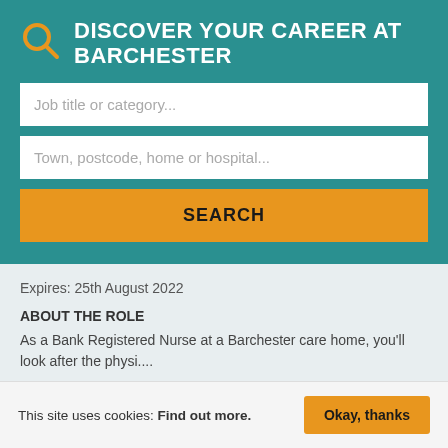DISCOVER YOUR CAREER AT BARCHESTER
[Figure (screenshot): Search input field with placeholder text 'Job title or category...']
[Figure (screenshot): Search input field with placeholder text 'Town, postcode, home or hospital...']
[Figure (screenshot): Orange SEARCH button]
Expires: 25th August 2022
ABOUT THE ROLE
As a Bank Registered Nurse at a Barchester care home, you'll look after the physi....
[Figure (screenshot): Orange MORE DETAILS button]
This site uses cookies: Find out more.
[Figure (screenshot): Orange 'Okay, thanks' button]